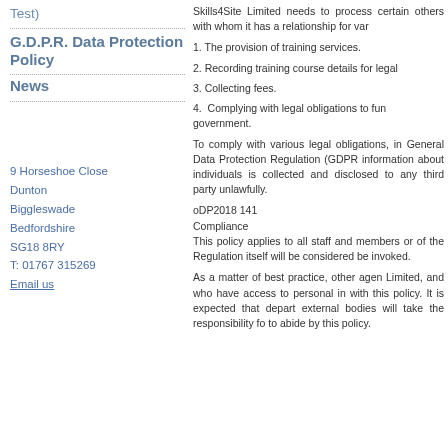Test)
G.D.P.R. Data Protection Policy
News
9 Horseshoe Close
Dunton
Biggleswade
Bedfordshire
SG18 8RY
T: 01767 315269
Email us
Skills4Site Limited needs to process certain others with whom it has a relationship for var
1. The provision of training services.
2. Recording training course details for legal
3. Collecting fees.
4. Complying with legal obligations to fun government.
To comply with various legal obligations, in General Data Protection Regulation (GDPR information about individuals is collected and disclosed to any third party unlawfully.
oDP2018 141
Compliance
This policy applies to all staff and members or of the Regulation itself will be considered be invoked.
As a matter of best practice, other agen Limited, and who have access to personal in with this policy. It is expected that depart external bodies will take the responsibility fo to abide by this policy.